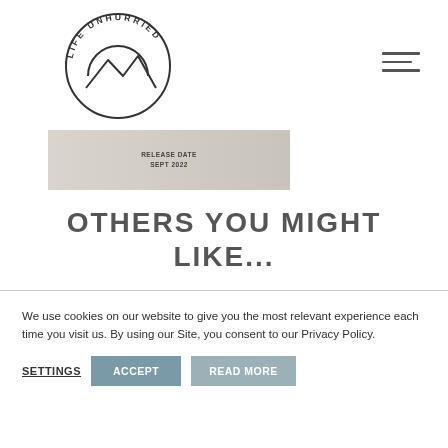[Figure (logo): Life Unhurried circular logo with mountain/arch illustration and text around the perimeter reading LIFE UNHURRIED]
[Figure (other): Hamburger/menu icon with three horizontal lines]
[Figure (other): Banner image with text RELEASE DATE SEPT 2022 on a beige/grey background]
OTHERS YOU MIGHT LIKE...
We use cookies on our website to give you the most relevant experience each time you visit us. By using our Site, you consent to our Privacy Policy.
SETTINGS   ACCEPT   READ MORE